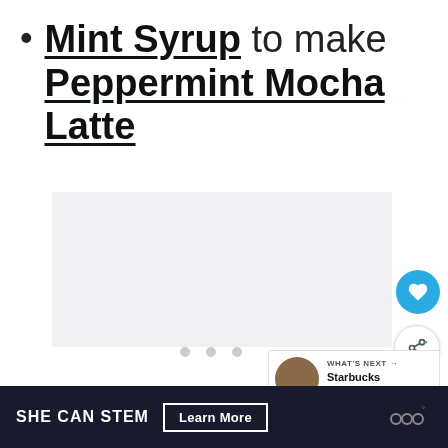Mint Syrup to make Peppermint Mocha Latte
[Figure (photo): Image placeholder area with carousel dots, like button, share button, and a 'What's Next' thumbnail panel showing Starbucks Iced Brown...]
SHE CAN STEM  Learn More